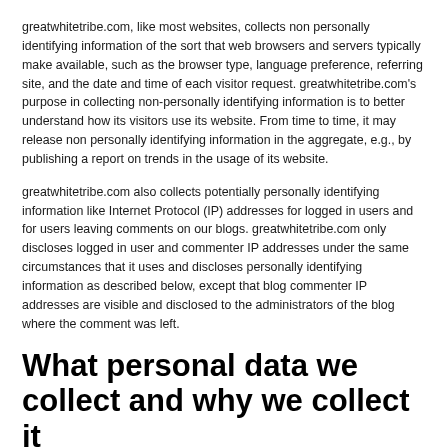greatwhitetribe.com, like most websites, collects non personally identifying information of the sort that web browsers and servers typically make available, such as the browser type, language preference, referring site, and the date and time of each visitor request. greatwhitetribe.com's purpose in collecting non-personally identifying information is to better understand how its visitors use its website. From time to time, it may release non personally identifying information in the aggregate, e.g., by publishing a report on trends in the usage of its website.
greatwhitetribe.com also collects potentially personally identifying information like Internet Protocol (IP) addresses for logged in users and for users leaving comments on our blogs. greatwhitetribe.com only discloses logged in user and commenter IP addresses under the same circumstances that it uses and discloses personally identifying information as described below, except that blog commenter IP addresses are visible and disclosed to the administrators of the blog where the comment was left.
What personal data we collect and why we collect it
Comments